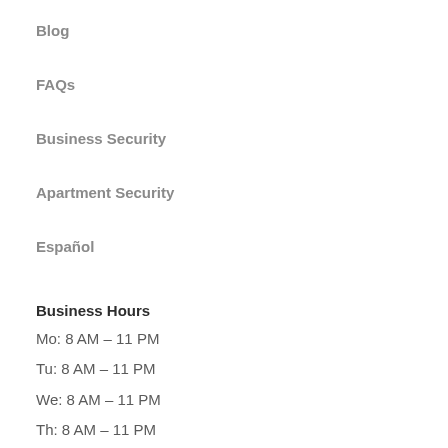Blog
FAQs
Business Security
Apartment Security
Español
Business Hours
Mo: 8 AM – 11 PM
Tu: 8 AM – 11 PM
We: 8 AM – 11 PM
Th: 8 AM – 11 PM
Fr: 8 AM – 11 PM
Sa: 8 AM – 11 PM